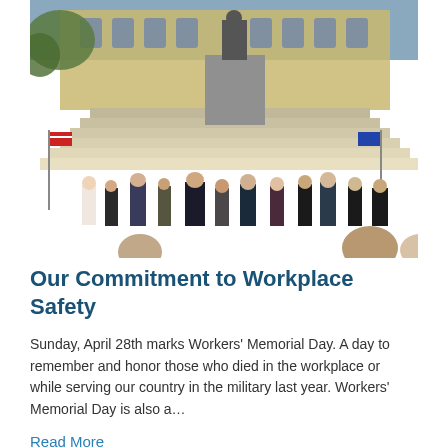[Figure (photo): Outdoor gathering of people in front of a government building with stone steps and a bronze statue on a pedestal. An American flag and what appears to be a state flag are visible. People in business attire are grouped together on the plaza.]
Our Commitment to Workplace Safety
Sunday, April 28th marks Workers' Memorial Day. A day to remember and honor those who died in the workplace or while serving our country in the military last year. Workers' Memorial Day is also a…
Read More